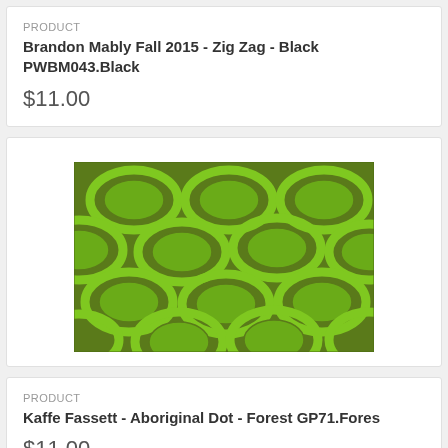PRODUCT
Brandon Mably Fall 2015 - Zig Zag - Black PWBM043.Black
$11.00
[Figure (photo): Green fabric with oval/ellipse pattern in darker green on olive green background - Aboriginal Dot style]
PRODUCT
Kaffe Fassett - Aboriginal Dot - Forest GP71.Fores
$11.00